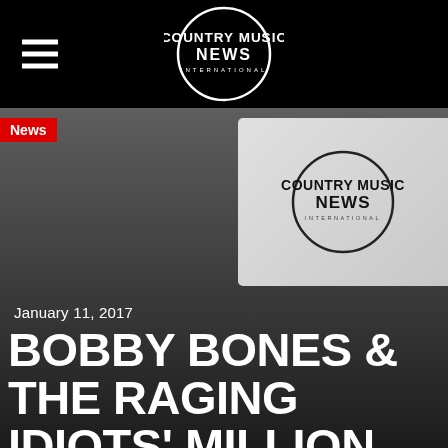COUNTRY MUSIC NEWS INTERNATIONAL
News
[Figure (logo): Country Music News International circular logo on light gray card]
January 11, 2017
BOBBY BONES & THE RAGING IDIOTS' MILLION DOLLAR SHOW FOR ST. JUDE" ROCKS THE RYMAN